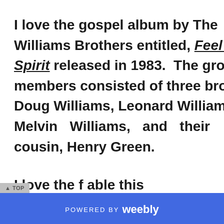I love the gospel album by The Williams Brothers entitled, Feel The Spirit released in 1983. The group members consisted of three brothers: Doug Williams, Leonard Williams, Melvin Williams, and their cousin, Henry Green.
POWERED BY weebly